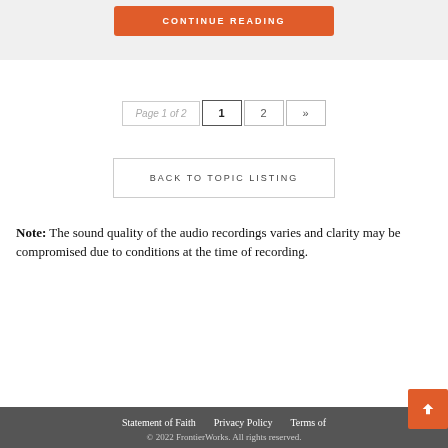CONTINUE READING
Page 1 of 2  1  2  »
BACK TO TOPIC LISTING
Note: The sound quality of the audio recordings varies and clarity may be compromised due to conditions at the time of recording.
Statement of Faith   Privacy Policy   Terms of   © 2022 FrontierWorks. All rights reserved.